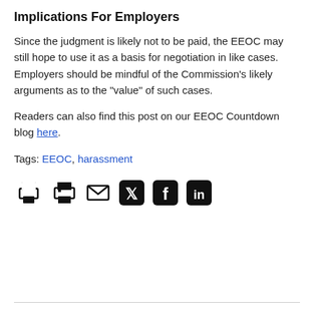Implications For Employers
Since the judgment is likely not to be paid, the EEOC may still hope to use it as a basis for negotiation in like cases. Employers should be mindful of the Commission’s likely arguments as to the “value” of such cases.
Readers can also find this post on our EEOC Countdown blog here.
Tags: EEOC, harassment
[Figure (infographic): Row of five social sharing icons: print, email, Twitter, Facebook, LinkedIn]